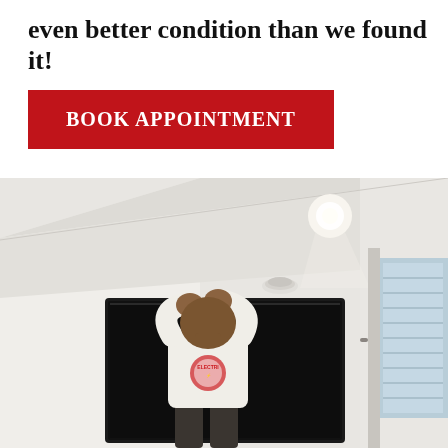even better condition than we found it!
BOOK APPOINTMENT
[Figure (photo): An electrician in a white branded uniform reaching up to mount or adjust a large flat-screen TV on a white wall. The room has white walls, recessed ceiling lighting, a smoke detector on the ceiling, and a window with shutters visible to the right.]